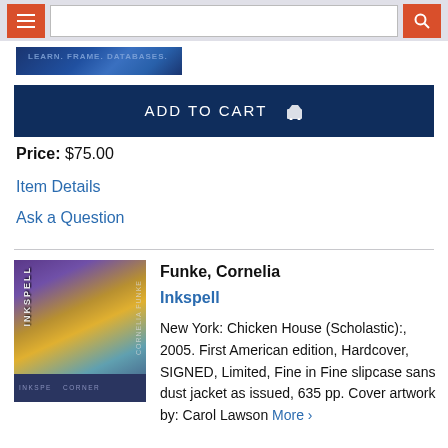Navigation bar with menu button, search input, and search button
[Figure (photo): Partial book cover banner image with blue background]
ADD TO CART
Price: $75.00
Item Details
Ask a Question
[Figure (photo): Book cover of Inkspell by Cornelia Funke showing colorful fantasy artwork with orange flame, blue bird, and purple/teal background, with dark blue bottom band]
Funke, Cornelia
Inkspell
New York: Chicken House (Scholastic):, 2005. First American edition, Hardcover, SIGNED, Limited, Fine in Fine slipcase sans dust jacket as issued, 635 pp. Cover artwork by: Carol Lawson More >